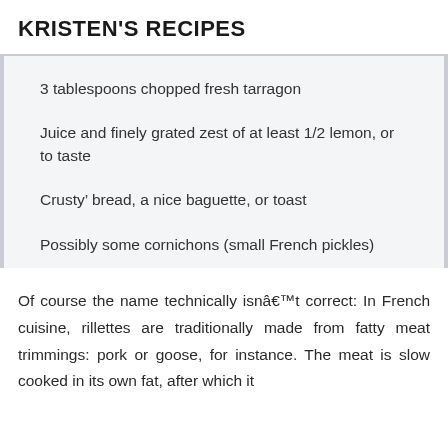KRISTEN'S RECIPES
3 tablespoons chopped fresh tarragon
Juice and finely grated zest of at least 1/2 lemon, or to taste
Crusty’ bread, a nice baguette, or toast
Possibly some cornichons (small French pickles)
Of course the name technically isnâ€™t correct: In French cuisine, rillettes are traditionally made from fatty meat trimmings: pork or goose, for instance. The meat is slow cooked in its own fat, after which it